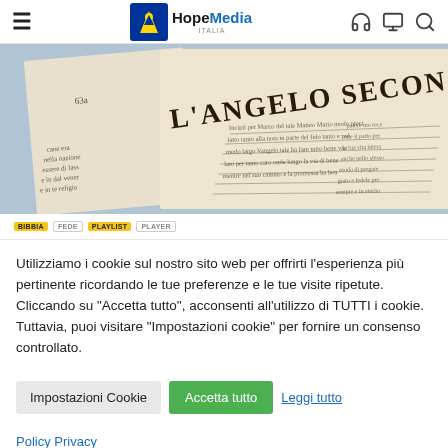HopeMedia Italia — navigation header with hamburger menu, logo, and icons
[Figure (photo): Close-up photo of an old Italian handwritten manuscript page titled 'L'ANGELO SECON...' (Vangelo secondo...), showing handwritten text in old script]
BIBBIA FEDE PLAYLIST PLAYER (tag labels)
Utilizziamo i cookie sul nostro sito web per offrirti l'esperienza più pertinente ricordando le tue preferenze e le tue visite ripetute. Cliccando su "Accetta tutto", acconsenti all'utilizzo di TUTTI i cookie. Tuttavia, puoi visitare "Impostazioni cookie" per fornire un consenso controllato.
Impostazioni Cookie | Accetta tutto | Leggi tutto
Policy Privacy